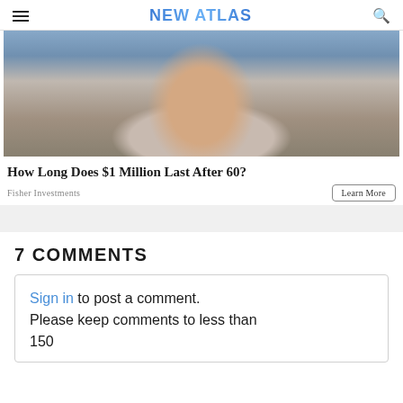NEW ATLAS
[Figure (photo): Close-up photo of a middle-aged man with a beard wearing earbuds and a white shirt, outdoors with a coastal/rocky background]
How Long Does $1 Million Last After 60?
Fisher Investments
Learn More
7 COMMENTS
Sign in to post a comment. Please keep comments to less than 150 words. No abusive material or spam.